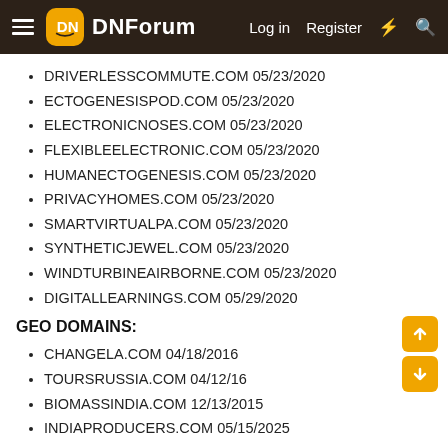DNForum — Log in  Register
DRIVERLESSCOMMUTE.COM 05/23/2020
ECTOGENESISPOD.COM 05/23/2020
ELECTRONICNOSES.COM 05/23/2020
FLEXIBLEELECTRONIC.COM 05/23/2020
HUMANECTOGENESIS.COM 05/23/2020
PRIVACYHOMES.COM 05/23/2020
SMARTVIRTUALPA.COM 05/23/2020
SYNTHETICJEWEL.COM 05/23/2020
WINDTURBINEAIRBORNE.COM 05/23/2020
DIGITALLEARNINGS.COM 05/29/2020
GEO DOMAINS:
CHANGELA.COM 04/18/2016
TOURSRUSSIA.COM 04/12/16
BIOMASSINDIA.COM 12/13/2015
INDIAPRODUCERS.COM 05/15/2025
PRODUCT KEYWORDS: